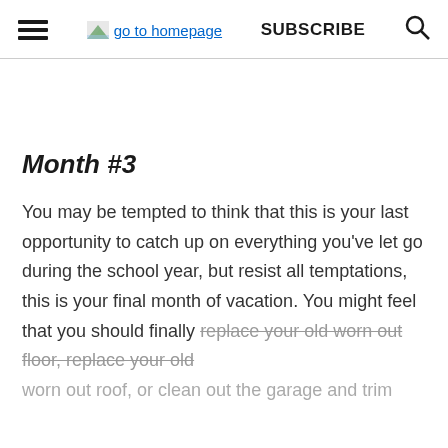go to homepage  SUBSCRIBE
Month #3
You may be tempted to think that this is your last opportunity to catch up on everything you've let go during the school year, but resist all temptations, this is your final month of vacation. You might feel that you should finally replace your old worn out floor, replace your old worn out roof, or clean out the garage and trim